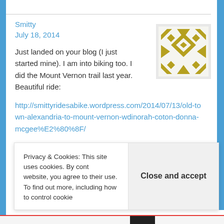Smitty
July 18, 2014
[Figure (illustration): Gold geometric quilt-pattern avatar on light grey background]
Just landed on your blog (I just started mine). I am into biking too. I did the Mount Vernon trail last year. Beautiful ride:
http://smittyridesabike.wordpress.com/2014/07/13/old-town-alexandria-to-mount-vernon-wdinorah-coton-donna-mcgee%E2%80%8F/
As far as fainting. Years ago, I was into bodybuilding.
Privacy & Cookies: This site uses cookies. By cont website, you agree to their use.
To find out more, including how to control cookie
Close and accept